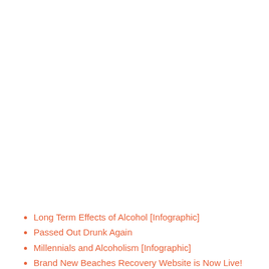Long Term Effects of Alcohol [Infographic]
Passed Out Drunk Again
Millennials and Alcoholism [Infographic]
Brand New Beaches Recovery Website is Now Live!
Category: Drug Addiction
What Does a Percocet High Feel Like?
What is Heroin?
How to Help a Heroin Addict
What is Valium?
Can Xanax Cause Seizures?
Popping Pills: A Path to Problems
Dangers of Pregnancy and Drug Abuse